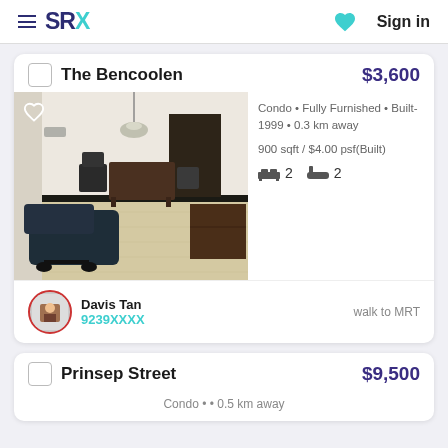SRX | Sign in
The Bencoolen  $3,600
[Figure (photo): Interior photo of a condo living/dining area with a massage chair, dining table, pendant lamp, and dark door in the background]
Condo • Fully Furnished • Built-1999 • 0.3 km away
900 sqft / $4.00 psf(Built)
2 bedrooms  2 bathrooms
Davis Tan
9239XXXX
walk to MRT
Prinsep Street  $9,500
Condo • • 0.5 km away